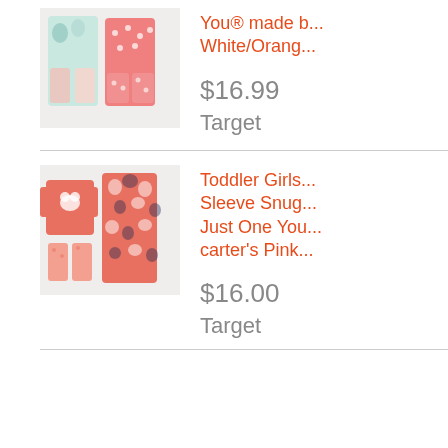[Figure (photo): Two-piece toddler girls' pajama set in white/orange floral and polka dot patterns]
You® made by White/Orange
$16.99
Target
[Figure (photo): Toddler girls' long sleeve snug pajama set by Just One You made by carter's in pink with bear and floral prints]
Toddler Girls Long Sleeve Snug... Just One You made by carter's Pink
$16.00
Target